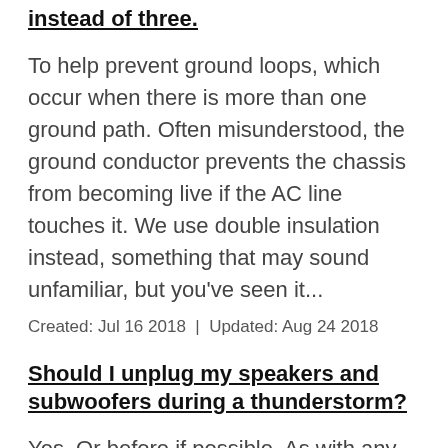instead of three.
To help prevent ground loops, which occur when there is more than one ground path. Often misunderstood, the ground conductor prevents the chassis from becoming live if the AC line touches it. We use double insulation instead, something that may sound unfamiliar, but you've seen it...
Created: Jul 16 2018  |  Updated: Aug 24 2018
Should I unplug my speakers and subwoofers during a thunderstorm?
Yes. Or before if possible. As with any high quality audio component it is always a good practice during stormy weather.
Updated: Aug 24 2018